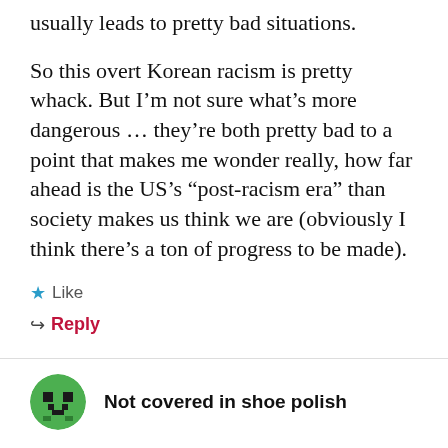usually leads to pretty bad situations.
So this overt Korean racism is pretty whack. But I'm not sure what's more dangerous … they're both pretty bad to a point that makes me wonder really, how far ahead is the US's "post-racism era" than society makes us think we are (obviously I think there's a ton of progress to be made).
★ Like
↳ Reply
Not covered in shoe polish